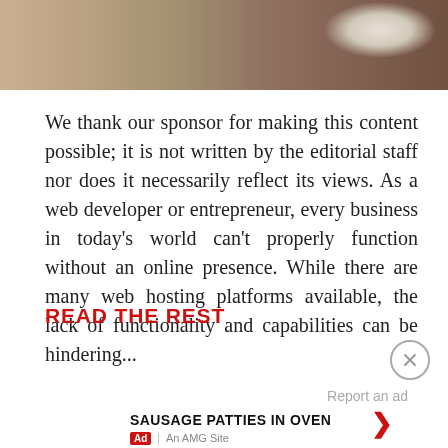[Figure (photo): Partial photo of a desk surface with a dark leather mouse pad and a computer mouse, warm brown tones]
We thank our sponsor for making this content possible; it is not written by the editorial staff nor does it necessarily reflect its views. As a web developer or entrepreneur, every business in today's world can't properly function without an online presence. While there are many web hosting platforms available, the lack of functionality and capabilities can be hindering...
READ THE REST
[Figure (screenshot): Close button (X in a circle) UI element]
Report an ad
SAUSAGE PATTIES IN OVEN
Ad | An AMG Site